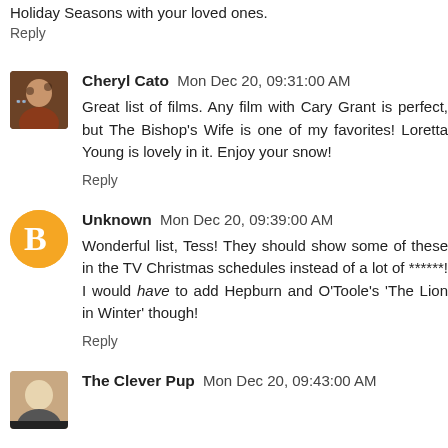Holiday Seasons with your loved ones.
Reply
Cheryl Cato  Mon Dec 20, 09:31:00 AM
Great list of films. Any film with Cary Grant is perfect, but The Bishop's Wife is one of my favorites! Loretta Young is lovely in it. Enjoy your snow!
Reply
Unknown  Mon Dec 20, 09:39:00 AM
Wonderful list, Tess! They should show some of these in the TV Christmas schedules instead of a lot of ******! I would have to add Hepburn and O'Toole's 'The Lion in Winter' though!
Reply
The Clever Pup  Mon Dec 20, 09:43:00 AM